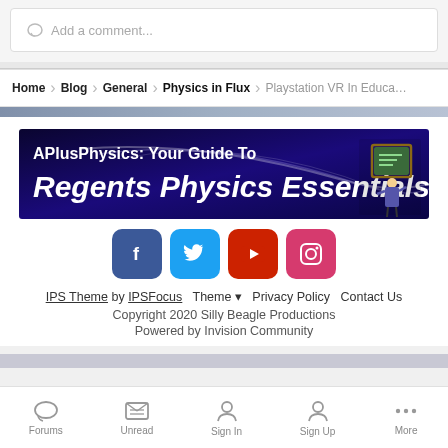Add a comment...
Home > Blog > General > Physics in Flux > Playstation VR In Educa...
[Figure (illustration): APlusPhysics: Your Guide To Regents Physics Essentials banner with dark blue background and cartoon professor at chalkboard]
[Figure (infographic): Social media icon buttons: Facebook (blue), Twitter (light blue), YouTube (red), Instagram (pink-red)]
IPS Theme by IPSFocus   Theme ▾   Privacy Policy   Contact Us
Copyright 2020 Silly Beagle Productions
Powered by Invision Community
Forums   Unread   Sign In   Sign Up   More